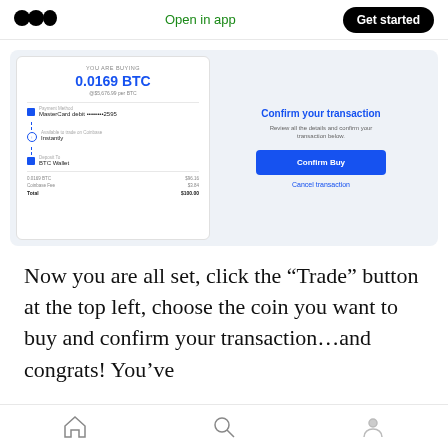Open in app  Get started
[Figure (screenshot): Coinbase app screenshot showing purchase of 0.0169 BTC with MasterCard debit card ending in 2595, BTC Wallet deposit, with fees breakdown (0.0169 BTC: $96.16, Coinbase Fee: $3.84, Total: $100.00) and Confirm your transaction panel with Confirm Buy button and Cancel transaction link.]
Now you are all set, click the “Trade” button at the top left, choose the coin you want to buy and confirm your transaction…and congrats! You’ve
Home  Search  Profile